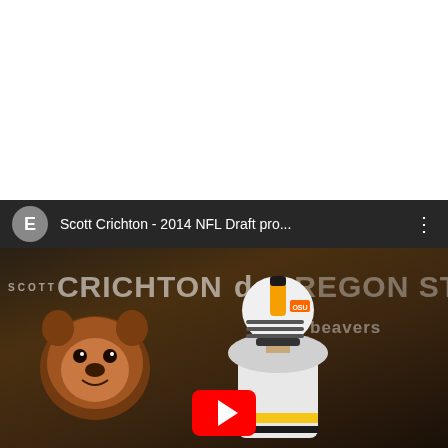[Figure (screenshot): YouTube video embed thumbnail for 'Scott Crichton - 2014 NFL Draft pro...' featuring an Oregon State Beavers football player wearing a white helmet with OSU logo, with the text 'scott CRICHTON de' and 'OREGON STATE beavers' overlaid on a dark background with the Oregon State beaver mascot logo. A red YouTube play button is visible at the bottom center.]